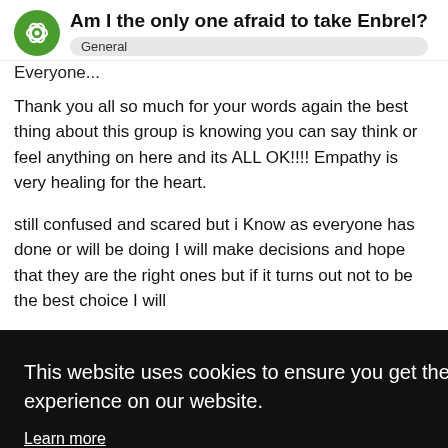Am I the only one afraid to take Enbrel?
General
Everyone...
Thank you all so much for your words again the best thing about this group is knowing you can say think or feel anything on here and its ALL OK!!!! Empathy is very healing for the heart.
still confused and scared but i Know as everyone has done or will be doing I will make decisions and hope that they are the right ones but if it turns out not to be the best choice I will
This website uses cookies to ensure you get the best experience on our website.
Learn more
Got it!
May '12
will not wait to progress. My GP told me t